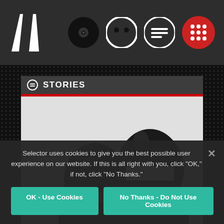Selector app header with logo and navigation icons
STORIES
[Figure (photo): Two figures wearing iconic black robot helmets (Daft Punk style), wearing black sequined/leather jackets, posed against a white background]
Selector uses cookies to give you the best possible user experience on our website. If this is all right with you, click "OK," if not, click "No Thanks."
OK - Use Cookies
No Thanks - Do Not Use Cookies